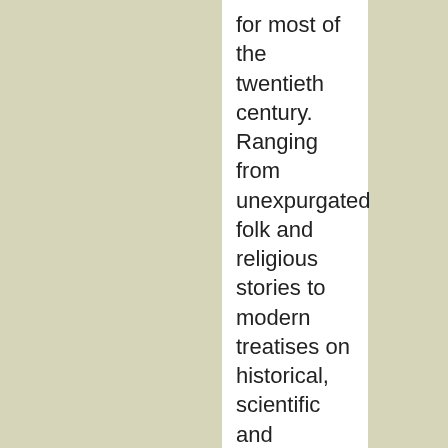for most of the twentieth century. Ranging from unexpurgated folk and religious stories to modern treatises on historical, scientific and theological subjects, titles include “Before the White Man Came,” “The Course Of Your Research,” “Obey